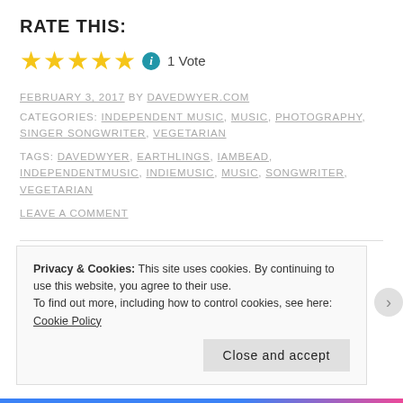RATE THIS:
[Figure (other): Five gold stars rating with info icon and '1 Vote' text]
FEBRUARY 3, 2017 BY DAVEDWYER.COM
CATEGORIES: INDEPENDENT MUSIC, MUSIC, PHOTOGRAPHY, SINGER SONGWRITER, VEGETARIAN
TAGS: DAVEDWYER, EARTHLINGS, IAMBEAD, INDEPENDENTMUSIC, INDIEMUSIC, MUSIC, SONGWRITER, VEGETARIAN
LEAVE A COMMENT
Privacy & Cookies: This site uses cookies. By continuing to use this website, you agree to their use. To find out more, including how to control cookies, see here: Cookie Policy